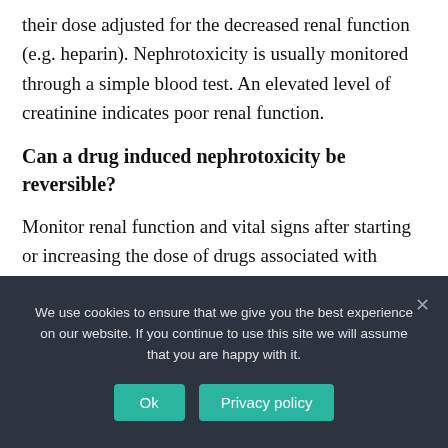their dose adjusted for the decreased renal function (e.g. heparin). Nephrotoxicity is usually monitored through a simple blood test. An elevated level of creatinine indicates poor renal function.
Can a drug induced nephrotoxicity be reversible?
Monitor renal function and vital signs after starting or increasing the dose of drugs associated with nephrotoxicity, especially
We use cookies to ensure that we give you the best experience on our website. If you continue to use this site we will assume that you are happy with it.